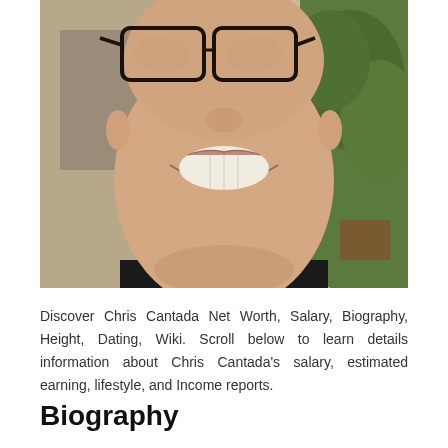[Figure (photo): Close-up photo of a young man smiling, wearing black-framed glasses, with a plant visible in the background to the right.]
Discover Chris Cantada Net Worth, Salary, Biography, Height, Dating, Wiki. Scroll below to learn details information about Chris Cantada's salary, estimated earning, lifestyle, and Income reports.
Biography